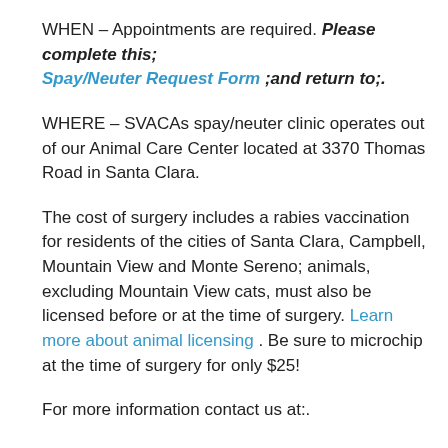WHEN – Appointments are required. Please complete this; Spay/Neuter Request Form ;and return to;.
WHERE – SVACAs spay/neuter clinic operates out of our Animal Care Center located at 3370 Thomas Road in Santa Clara.
The cost of surgery includes a rabies vaccination for residents of the cities of Santa Clara, Campbell, Mountain View and Monte Sereno; animals, excluding Mountain View cats, must also be licensed before or at the time of surgery. Learn more about animal licensing. Be sure to microchip at the time of surgery for only $25!
For more information contact us at:.